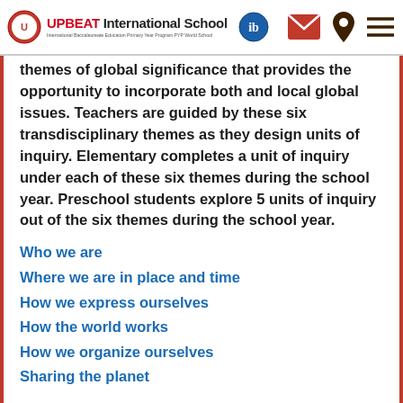UPBEAT International School — International Baccalaureate Education Primary Year Program PYP World School
themes of global significance that provides the opportunity to incorporate both and local global issues. Teachers are guided by these six transdisciplinary themes as they design units of inquiry. Elementary completes a unit of inquiry under each of these six themes during the school year. Preschool students explore 5 units of inquiry out of the six themes during the school year.
Who we are
Where we are in place and time
How we express ourselves
How the world works
How we organize ourselves
Sharing the planet